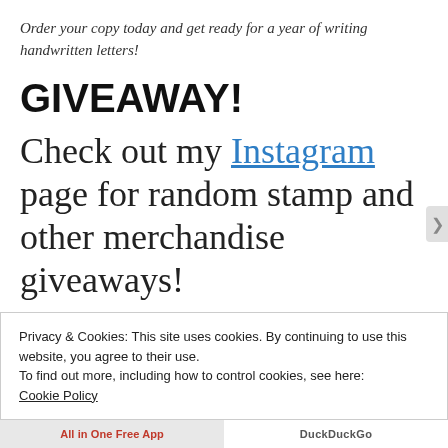Order your copy today and get ready for a year of writing handwritten letters!
GIVEAWAY!
Check out my Instagram page for random stamp and other merchandise giveaways!
Privacy & Cookies: This site uses cookies. By continuing to use this website, you agree to their use.
To find out more, including how to control cookies, see here:
Cookie Policy
Close and accept